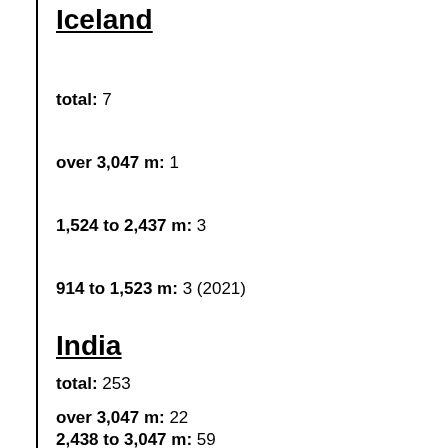Iceland
total: 7
over 3,047 m: 1
1,524 to 2,437 m: 3
914 to 1,523 m: 3 (2021)
India
total: 253
over 3,047 m: 22
2,438 to 3,047 m: 59